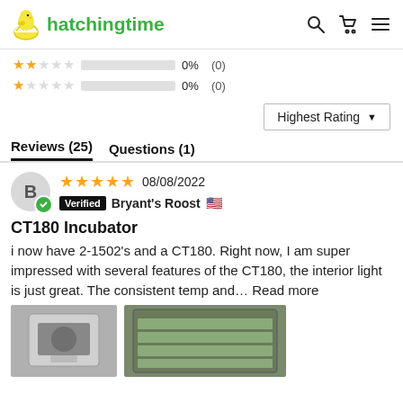hatchingtime
2 stars 0% (0)
1 star 0% (0)
Highest Rating ▾
Reviews (25)   Questions (1)
★★★★★ 08/08/2022  Verified  Bryant's Roost 🇺🇸
CT180 Incubator
i now have 2-1502's and a CT180. Right now, I am super impressed with several features of the CT180, the interior light is just great. The consistent temp and… Read more
[Figure (photo): Two user-uploaded product photos of incubator equipment]